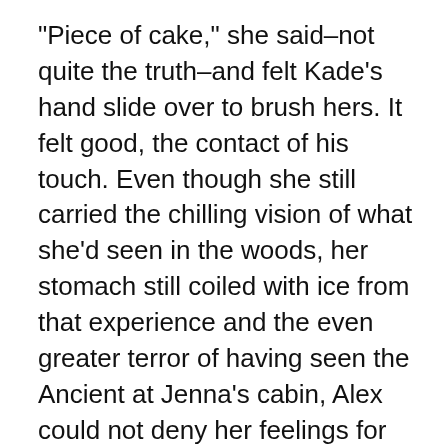"Piece of cake," she said–not quite the truth–and felt Kade's hand slide over to brush hers. It felt good, the contact of his touch. Even though she still carried the chilling vision of what she'd seen in the woods, her stomach still coiled with ice from that experience and the even greater terror of having seen the Ancient at Jenna's cabin, Alex could not deny her feelings for Kade. He was the one person who knew her, better than any other now. Despite everything that had occurred between them and around them, her heart could not completely seal itself off from the comfort that only he could give her. Some of the betrayal